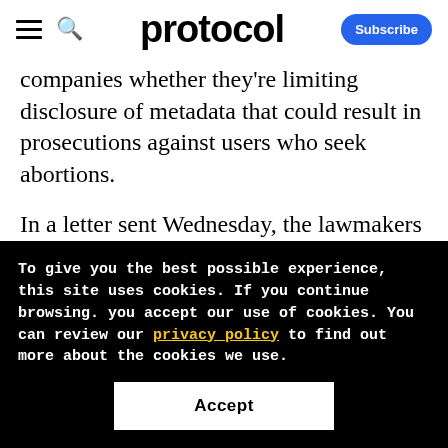protocol — Subscribe
companies whether they're limiting disclosure of metadata that could result in prosecutions against users who seek abortions.
In a letter sent Wednesday, the lawmakers asked Messenger, WhatsApp, AT&T, Verizon, Apple and Google about their handling of metadata — not the actual content of digital
To give you the best possible experience, this site uses cookies. If you continue browsing. you accept our use of cookies. You can review our privacy policy to find out more about the cookies we use.
Accept